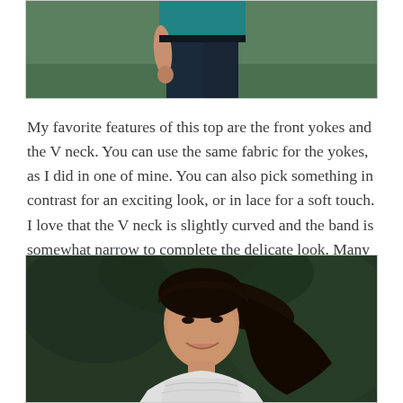[Figure (photo): Partial photo of a person wearing a teal/dark top with dark jeans, standing outdoors on green grass background. Only the torso and lower body visible.]
My favorite features of this top are the front yokes and the V neck. You can use the same fabric for the yokes, as I did in one of mine. You can also pick something in contrast for an exciting look, or in lace for a soft touch. I love that the V neck is slightly curved and the band is somewhat narrow to complete the delicate look. Many of the testers created their first V neck band using the instructions in the Arenal Top, and they all produced fantastic results.
[Figure (photo): Portrait photo of a smiling young Asian woman with long dark hair, wearing a light-colored (white/gray lace) top, outdoors with dark green foliage background.]